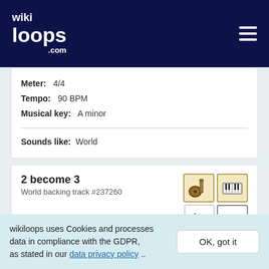wikiloops.com
Meter: 4/4
Tempo: 90 BPM
Musical key: A minor
Sounds like: World
2 become 3
World backing track #237260
Meter: 4/4
Tempo: 114 BPM
Musical key: G major
wikiloops uses Cookies and processes data in compliance with the GDPR, as stated in our data privacy policy ..